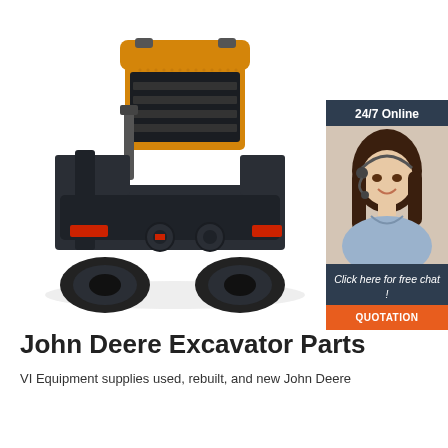[Figure (photo): Rear view of a yellow and black compact wheel loader / skid steer machine on white background]
[Figure (infographic): 24/7 Online chat widget with photo of female customer service representative wearing headset, text 'Click here for free chat!' and orange QUOTATION button]
John Deere Excavator Parts
VI Equipment supplies used, rebuilt, and new John Deere